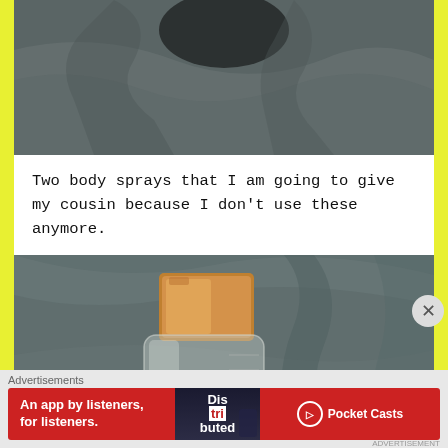[Figure (photo): Close-up photo of fabric/cloth background, partial view of body spray bottles on dark gray fabric]
Two body sprays that I am going to give my cousin because I don't use these anymore.
[Figure (photo): Photo of a glass body spray bottle with a gold/rose-gold metallic cap, lying on dark gray fabric]
Advertisements
[Figure (other): Advertisement banner for Pocket Casts app - red background with text 'An app by listeners, for listeners.' and Pocket Casts logo]